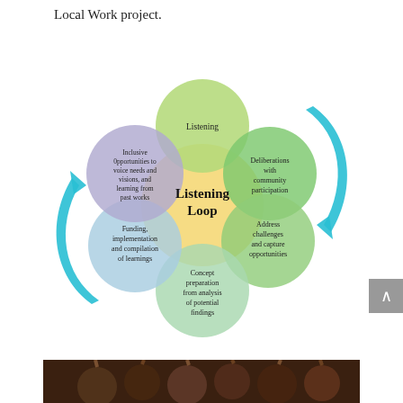Local Work project.
[Figure (infographic): Listening Loop diagram: a central yellow circle labeled 'Listening Loop' surrounded by five colored circles (green 'Listening' at top, green 'Deliberations with community participation' at upper right, green/blue 'Address challenges and capture opportunities' at lower right, blue 'Concept preparation from analysis of potential findings' at bottom, blue 'Funding, implementation and compilation of learnings' at lower left, purple 'Inclusive Opportunities to voice needs and visions, and learning from past works' at upper left), with two large cyan arrows curving around the outside indicating a loop cycle.]
[Figure (photo): Photograph of a group of people with raised hands, appearing to be in a meeting or community gathering.]